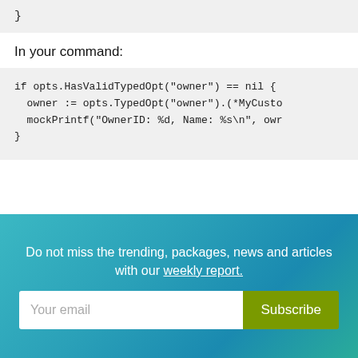}
In your command:
if opts.HasValidTypedOpt("owner") == nil {
  owner := opts.TypedOpt("owner").(*MyCusto
  mockPrintf("OwnerID: %d, Name: %s\n", owr
}
Do not miss the trending, packages, news and articles with our weekly report.
Your email
Subscribe